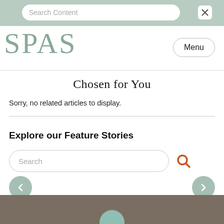[Figure (screenshot): Top navigation bar with search input labeled 'Search Content' and a filter icon on the right, on a muted green background.]
[Figure (screenshot): SPAS magazine logo in large serif text (muted green) on the left, and a 'Menu' button on the right.]
Chosen for You
Sorry, no related articles to display.
Explore our Feature Stories
[Figure (screenshot): Search input box with placeholder text 'Search' and an orange search icon button, with left and right navigation arrow circles below.]
[Figure (screenshot): Brown/taupe footer bar at the bottom with a muted teal semicircle shape.]